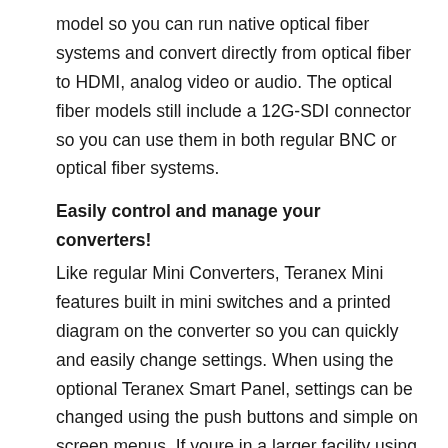model so you can run native optical fiber systems and convert directly from optical fiber to HDMI, analog video or audio. The optical fiber models still include a 12G-SDI connector so you can use them in both regular BNC or optical fiber systems.
Easily control and manage your converters!
Like regular Mini Converters, Teranex Mini features built in mini switches and a printed diagram on the converter so you can quickly and easily change settings. When using the optional Teranex Smart Panel, settings can be changed using the push buttons and simple on screen menus. If youre in a larger facility using lots of converters, you can manage them over ethernet from a Mac or Windows computer using the included Converter Utility software.
Patented Teranex Image Processing
Built using high quality Teranex video processing technology,